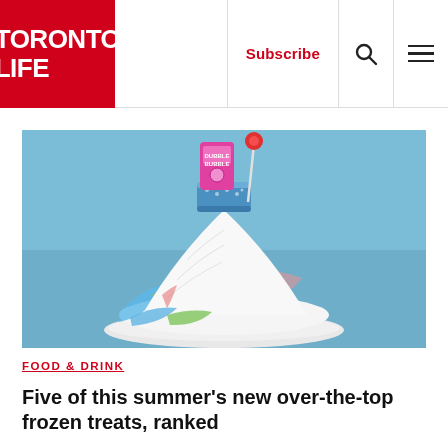TORONTO LIFE | Subscribe | Search | Menu
[Figure (photo): A colorful shaved ice snow cone piled high on a white plate, topped with a cylindrical candy rim, a pink Dubble Bubble gum package, and a red lollipop. The ice is layered with red, green, blue, and white colors. Background is blue.]
FOOD & DRINK
Five of this summer's new over-the-top frozen treats, ranked